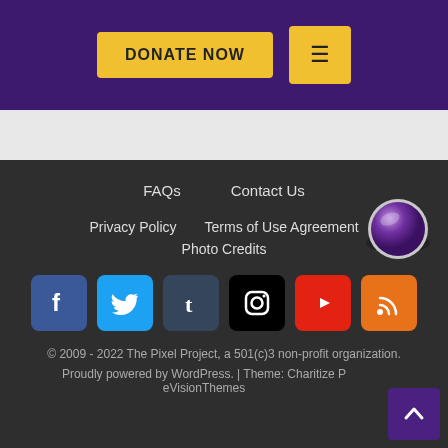DONATE NOW | ≡
FAQs
Contact Us
Privacy Policy
Terms of Use Agreement
Photo Credits
[Figure (infographic): Social media icons row: Facebook (blue), Twitter (light blue), Tumblr (dark blue), Instagram (black), YouTube (red), RSS (orange)]
© 2009 - 2022 The Pixel Project, a 501(c)3 non-profit organization.
Proudly powered by WordPress. | Theme: Charitize P eVisionThemes